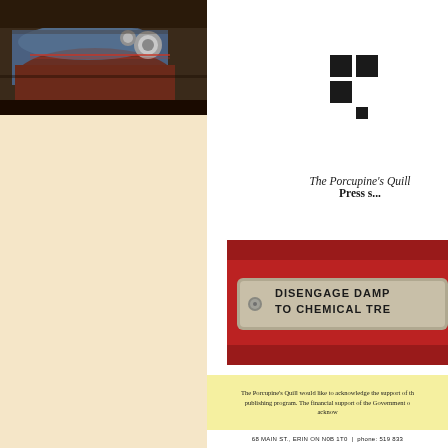[Figure (photo): Close-up photograph of industrial printing press rollers in blue and red]
[Figure (logo): The Porcupine's Quill publisher logo - stylized letter P made of squares]
The Porcupine's Quill
Press s...
[Figure (photo): Red background with a metal plate sign reading DISENGAGE DAMP... TO CHEMICAL TRE...]
The Porcupine's Quill would like to acknowledge the support of the publishing program. The financial support of the Government o... acknow...
68 MAIN ST., ERIN ON N0B 1T0  |  phone: 519 833...